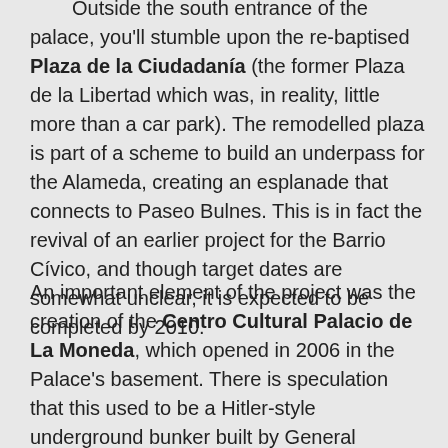special festivities are taking place. Outside the south entrance of the palace, you'll stumble upon the re-baptised Plaza de la Ciudadanía (the former Plaza de la Libertad which was, in reality, little more than a car park). The remodelled plaza is part of a scheme to build an underpass for the Alameda, creating an esplanade that connects to Paseo Bulnes. This is in fact the revival of an earlier project for the Barrio Cívico, and though target dates are somewhat unclear, it is expected to be completed by 2010.
An important element of the project was the creation of the Centro Cultural Palacio de La Moneda, which opened in 2006 in the Palace's basement. There is speculation that this used to be a Hitler-style underground bunker built by General Pinochet; the official version, however, tells you that the basement predates Pinochet and that a great deal of effort went into its redesign. For what it's worth, the Centro Cultural La Moneda is a thriving art space and exhibition centre, and its sheer size and cutting-edge feel